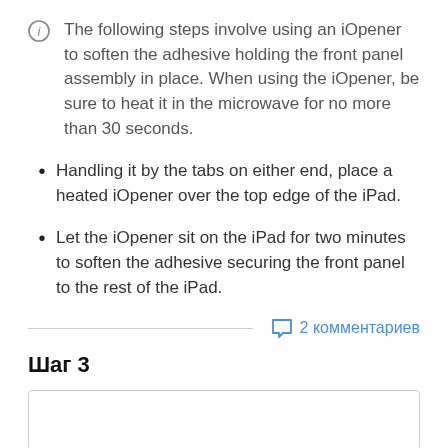The following steps involve using an iOpener to soften the adhesive holding the front panel assembly in place. When using the iOpener, be sure to heat it in the microwave for no more than 30 seconds.
Handling it by the tabs on either end, place a heated iOpener over the top edge of the iPad.
Let the iOpener sit on the iPad for two minutes to soften the adhesive securing the front panel to the rest of the iPad.
2 комментариев
Шаг 3
[Figure (other): Empty image box placeholder for Step 3]